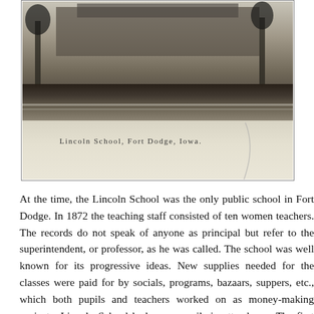[Figure (photo): Black and white photograph of Lincoln School, Fort Dodge, Iowa. Shows a large building in the background with open grounds. Lower portion of the postcard shows a cream/tan background with the caption text and a crack/fold mark.]
Lincoln School, Fort Dodge, Iowa.
At the time, the Lincoln School was the only public school in Fort Dodge. In 1872 the teaching staff consisted of ten women teachers. The records do not speak of anyone as principal but refer to the superintendent, or professor, as he was called. The school was well known for its progressive ideas. New supplies needed for the classes were paid for by socials, programs, bazaars, suppers, etc., which both pupils and teachers worked on as money-making projects. Lincoln School had many pupils in attendance. The first high school graduating cl